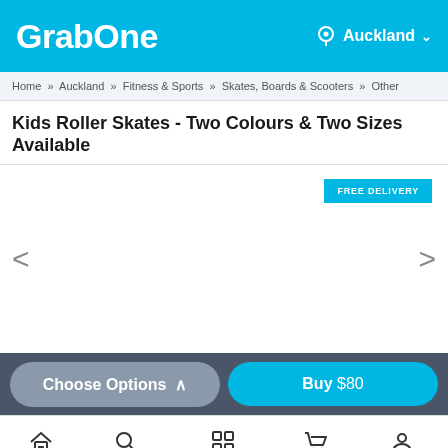GrabOne — Auckland
Home » Auckland » Fitness & Sports » Skates, Boards & Scooters » Other
Kids Roller Skates - Two Colours & Two Sizes Available
[Figure (screenshot): Product image area with FREE DELIVERY badge, left and right navigation arrows for image carousel]
Choose Options ^ | Buy $80
Home | Search | Categories | Cart | Account